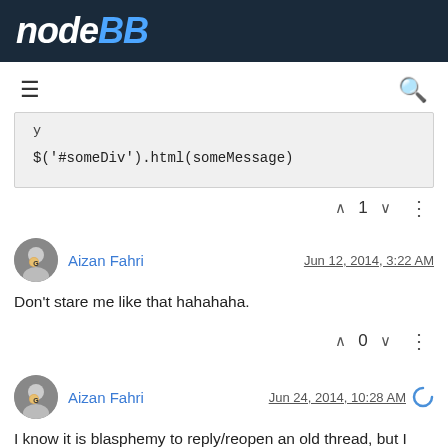NodeBB logo header
[Figure (screenshot): NodeBB forum logo in white and blue on dark navy background]
[Figure (screenshot): Navigation bar with hamburger menu and search icon]
$("#someDiv").html(someMessage)
^ 1 v  ⋮
Aizan Fahri   Jun 12, 2014, 3:22 AM
Don't stare me like that hahahaha.
^ 0 v  ⋮
Aizan Fahri   Jun 24, 2014, 10:28 AM
I know it is blasphemy to reply/reopen an old thread, but I think I